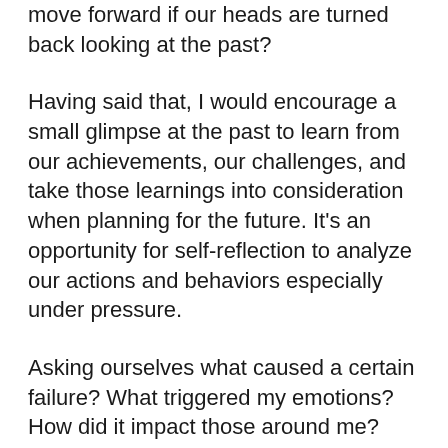move forward if our heads are turned back looking at the past?
Having said that, I would encourage a small glimpse at the past to learn from our achievements, our challenges, and take those learnings into consideration when planning for the future. It’s an opportunity for self-reflection to analyze our actions and behaviors especially under pressure.
Asking ourselves what caused a certain failure? What triggered my emotions? How did it impact those around me? And the most important question of them all: what can I do better next time around? Is crucial for the success of future endeavors.